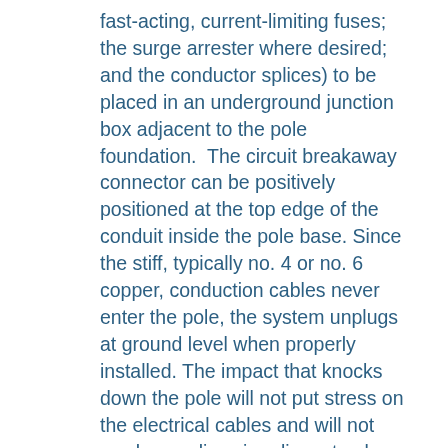fast-acting, current-limiting fuses; the surge arrester where desired; and the conductor splices) to be placed in an underground junction box adjacent to the pole foundation.  The circuit breakaway connector can be positively positioned at the top edge of the conduit inside the pole base. Since the stiff, typically no. 4 or no. 6 copper, conduction cables never enter the pole, the system unplugs at ground level when properly installed. The impact that knocks down the pole will not put stress on the electrical cables and will not weaken  splices in adjacent poles.  Most important, with the PCDS, there is no exposed electrical hazard upon knockdown as exist with non-AASHTO compliant conventional wiring methods. When this system is combined with a properly installed foundation, the possibility of fire and explosion or electrical shock is significantly reduced if